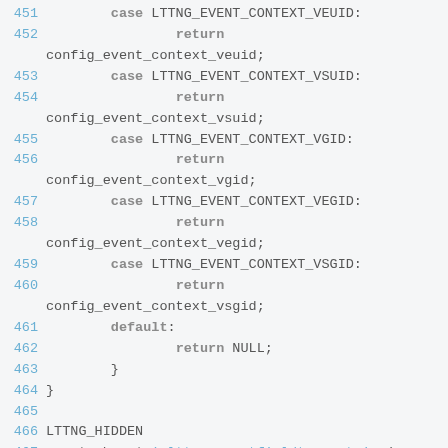Source code snippet showing C switch-case statements for LTTNG event context types, lines 451-469